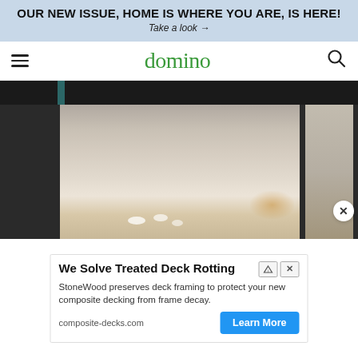OUR NEW ISSUE, HOME IS WHERE YOU ARE, IS HERE! Take a look →
domino
[Figure (photo): Blurred interior room photo showing a bed or furniture with warm tones and teal accents at top]
[Figure (other): Advertisement: We Solve Treated Deck Rotting. StoneWood preserves deck framing to protect your new composite decking from frame decay. composite-decks.com Learn More button.]